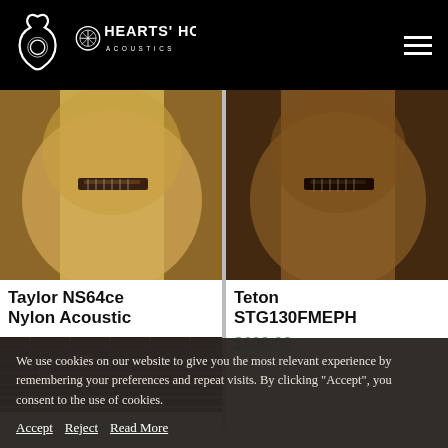[Figure (logo): Hearts' Home Acoustics logo — white guitar outline with brand name on black header background]
[Figure (photo): Taylor NS64ce Nylon Acoustic guitar body close-up, tan/natural wood color]
Taylor NS64ce Nylon Acoustic
[Figure (photo): Teton STG130FMEPH guitar body close-up, darker warm wood tone]
Teton STG130FMEPH
$699.00
[Figure (photo): Close-up of guitar fretboard/strings on left product card bottom]
We use cookies on our website to give you the most relevant experience by remembering your preferences and repeat visits. By clicking "Accept", you consent to the use of cookies.
Accept   Reject   Read More